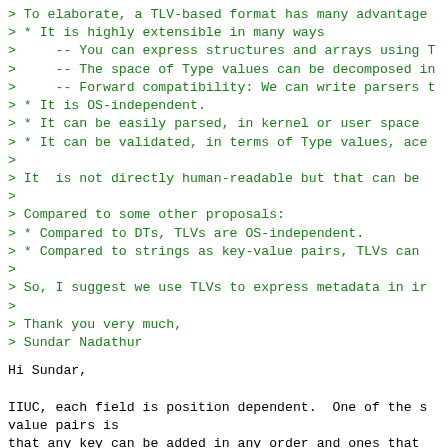> To elaborate, a TLV-based format has many advantage
> * It is highly extensible in many ways
>     -- You can express structures and arrays using T
>     -- The space of Type values can be decomposed in
>     -- Forward compatibility: We can write parsers t
> * It is OS-independent.
> * It can be easily parsed, in kernel or user space
> * It can be validated, in terms of Type values, ace
>
> It  is not directly human-readable but that can be
>
> Compared to some other proposals:
> * Compared to DTs, TLVs are OS-independent.
> * Compared to strings as key-value pairs, TLVs can
>
> So, I suggest we use TLVs to express metadata in ir
>
> Thank you very much,
> Sundar Nadathur
Hi Sundar,

IIUC, each field is position dependent.  One of the s
value pairs is
that any key can be added in any order and ones that
a particular architecture or use case can be left out
is position
dependent, it becomes less flexible.  Once a field is
stuck with it
forever unless we drop it in some incremented version

Al...